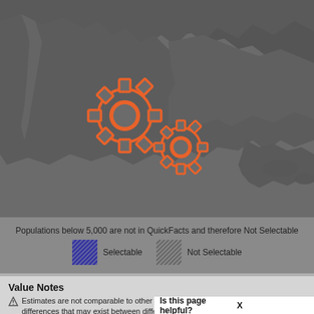[Figure (map): Greyscale map showing Mexico and surrounding regions with two orange gear/cog icons overlaid in the center-left area, indicating a loading or processing state.]
Populations below 5,000 are not in QuickFacts and therefore Not Selectable
Selectable
Not Selectable
Value Notes
Estimates are not comparable to other geographic levels due to methodology differences that may exist between different data sources.
Some estimates presented here come from sample sampling errors that may render some apparent differences between
Is this page helpful?  X